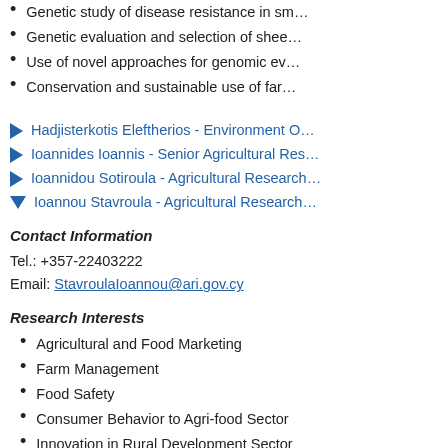Genetic study of disease resistance in sm…
Genetic evaluation and selection of shee…
Use of novel approaches for genomic ev…
Conservation and sustainable use of far…
Hadjisterkotis Eleftherios - Environment O…
Ioannides Ioannis - Senior Agricultural Res…
Ioannidou Sotiroula - Agricultural Research…
Ioannou Stavroula - Agricultural Research…
Contact Information
Tel.: +357-22403222
Email: StavroulaIoannou@ari.gov.cy
Research Interests
Agricultural and Food Marketing
Farm Management
Food Safety
Consumer Behavior to Agri-food Sector
Innovation in Rural Development Sector
Kapari-Isaia Theodora - Senior Agricultura…